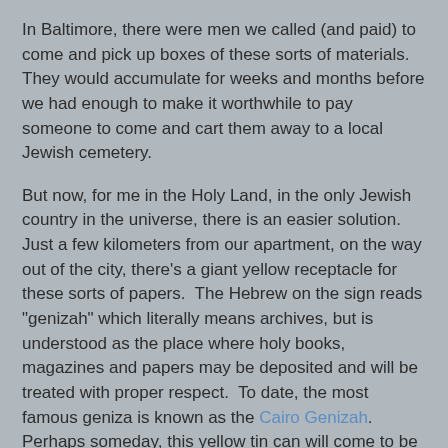In Baltimore, there were men we called (and paid) to come and pick up boxes of these sorts of materials. They would accumulate for weeks and months before we had enough to make it worthwhile to pay someone to come and cart them away to a local Jewish cemetery.
But now, for me in the Holy Land, in the only Jewish country in the universe, there is an easier solution.  Just a few kilometers from our apartment, on the way out of the city, there's a giant yellow receptacle for these sorts of papers.  The Hebrew on the sign reads "genizah" which literally means archives, but is understood as the place where holy books, magazines and papers may be deposited and will be treated with proper respect.  To date, the most famous geniza is known as the Cairo Genizah.  Perhaps someday, this yellow tin can will come to be known by scholars as the Ma'ale Adumim Genizah.  Until then, it's just another reminder of how lucky I am to live in the one place in the world where Judaism makes the most sense.
Rivkah Lambert Adler at 5:02 PM